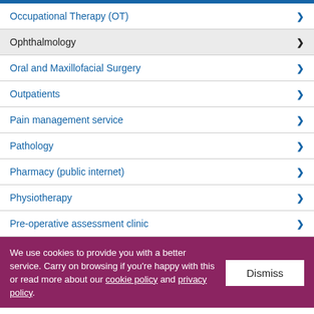Occupational Therapy (OT)
Ophthalmology
Oral and Maxillofacial Surgery
Outpatients
Pain management service
Pathology
Pharmacy (public internet)
Physiotherapy
Pre-operative assessment clinic
We use cookies to provide you with a better service. Carry on browsing if you're happy with this or read more about our cookie policy and privacy policy.